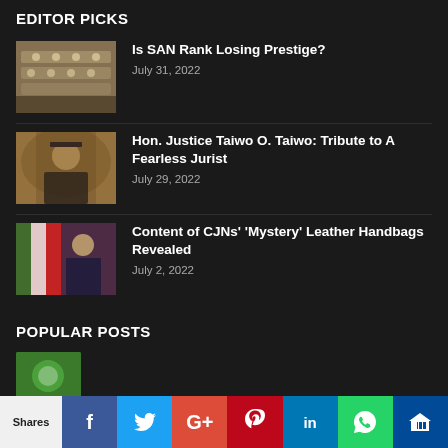EDITOR PICKS
[Figure (photo): Group of people in academic robes seated in rows]
Is SAN Rank Losing Prestige?
July 31, 2022
[Figure (photo): Portrait of an older man smiling, wearing a cap and suit]
Hon. Justice Taiwo O. Taiwo: Tribute to A Fearless Jurist
July 29, 2022
[Figure (photo): Man in suit speaking at a podium with a flag behind]
Content of CJNs’ ‘Mystery’ Leather Handbags Revealed
July 2, 2022
POPULAR POSTS
Shares | Facebook | Twitter | Google+ | Pinterest | LinkedIn | WhatsApp | Crown